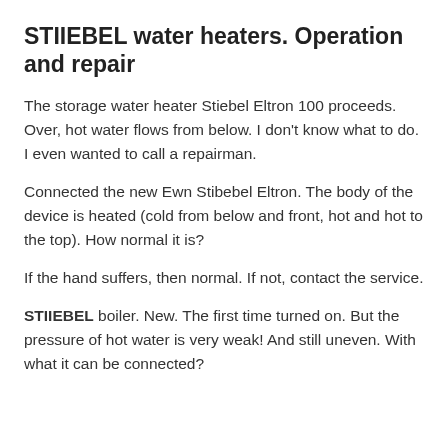STIIEBEL water heaters. Operation and repair
The storage water heater Stiebel Eltron 100 proceeds. Over, hot water flows from below. I don't know what to do. I even wanted to call a repairman.
Connected the new Ewn Stibebel Eltron. The body of the device is heated (cold from below and front, hot and hot to the top). How normal it is?
If the hand suffers, then normal. If not, contact the service.
STIIEBEL boiler. New. The first time turned on. But the pressure of hot water is very weak! And still uneven. With what it can be connected?